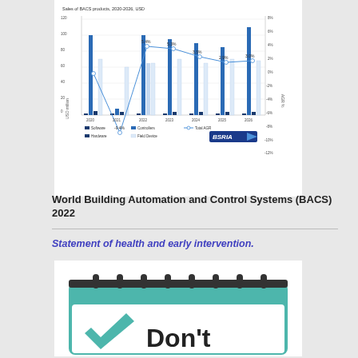[Figure (grouped-bar-chart): Sales of BACS products, 2020-2026, USD]
World Building Automation and Control Systems (BACS) 2022
Statement of health and early intervention.
[Figure (illustration): Notebook/calendar illustration with teal cover, spiral binding, and large teal checkmark with text 'Don't' visible at bottom]